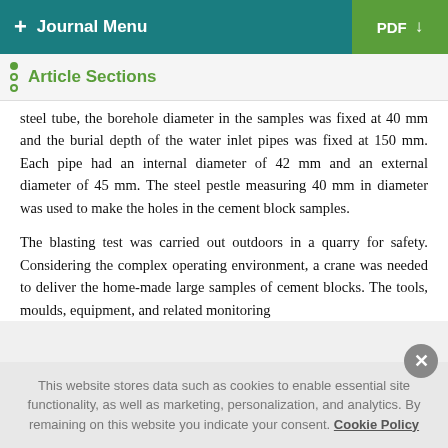+ Journal Menu   PDF ↓
Article Sections
steel tube, the borehole diameter in the samples was fixed at 40 mm and the burial depth of the water inlet pipes was fixed at 150 mm. Each pipe had an internal diameter of 42 mm and an external diameter of 45 mm. The steel pestle measuring 40 mm in diameter was used to make the holes in the cement block samples.
The blasting test was carried out outdoors in a quarry for safety. Considering the complex operating environment, a crane was needed to deliver the home-made large samples of cement blocks. The tools, moulds, equipment, and related monitoring
This website stores data such as cookies to enable essential site functionality, as well as marketing, personalization, and analytics. By remaining on this website you indicate your consent. Cookie Policy